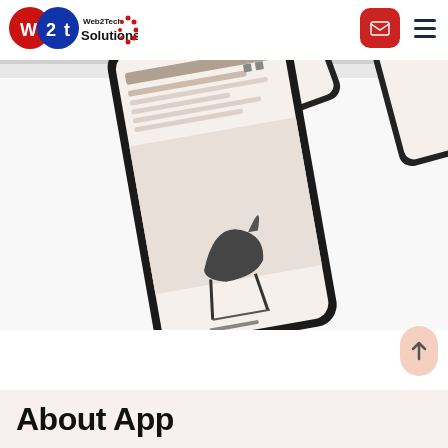[Figure (logo): Web2Tech Solutions logo with red and blue circular icon and decorative dots]
[Figure (screenshot): Three smartphone mockups displayed at angles showing a product/furniture app interface with a bird-shaped chair]
About App